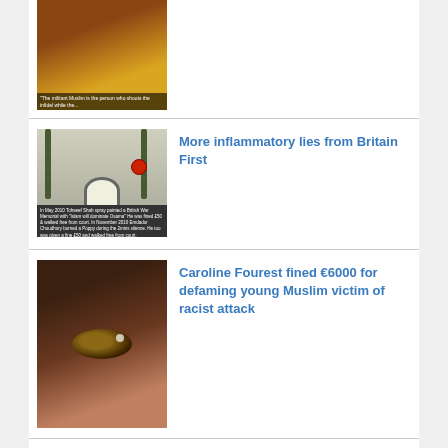[Figure (photo): Partial image of a bearded man with a quote about militant Muslims, image cropped at top]
[Figure (photo): Image of a mosque or memorial building with a poppy spray painted on it, with caption text about Tohseef Shah and Emdadur Choudhury incidents]
More inflammatory lies from Britain First
[Figure (photo): Close-up photo of a person's eye showing bruising, suggesting a racist attack victim]
Caroline Fourest fined €6000 for defaming young Muslim victim of racist attack
[Figure (photo): Photo of a woman wearing a hijab against a cloudy sky background]
More anti-Muslim bigotry from Sun columnist Katie